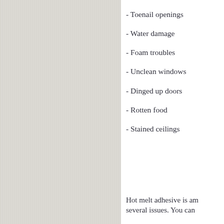- Toenail openings
- Water damage
- Foam troubles
- Unclean windows
- Dinged up doors
- Rotten food
- Stained ceilings
Hot melt adhesive is am several issues. You can